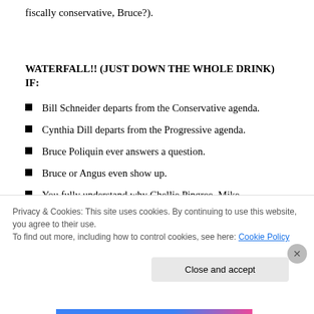fiscally conservative, Bruce?).
WATERFALL!! (JUST DOWN THE WHOLE DRINK) IF:
Bill Schneider departs from the Conservative agenda.
Cynthia Dill departs from the Progressive agenda.
Bruce Poliquin ever answers a question.
Bruce or Angus even show up.
You fully understand why Chellie Pingree, Mike
Privacy & Cookies: This site uses cookies. By continuing to use this website, you agree to their use. To find out more, including how to control cookies, see here: Cookie Policy
Close and accept